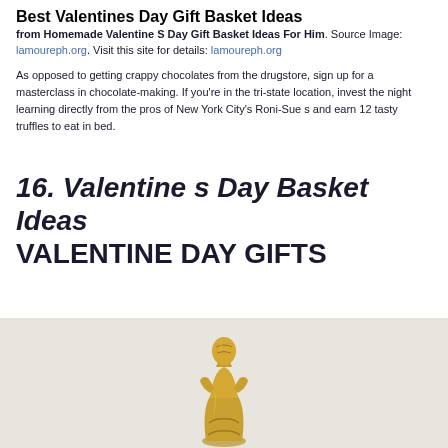Best Valentines Day Gift Basket Ideas
from Homemade Valentine S Day Gift Basket Ideas For Him. Source Image: lamoureph.org. Visit this site for details: lamoureph.org
As opposed to getting crappy chocolates from the drugstore, sign up for a masterclass in chocolate-making. If you’re in the tri-state location, invest the night learning directly from the pros of New York City’s Roni-Sue s and earn 12 tasty truffles to eat in bed.
16. Valentine s Day Basket Ideas VALENTINE DAY GIFTS
[Figure (photo): Photo of a gold-colored decorative figure or chocolate sculpture against a light beige/gray background]